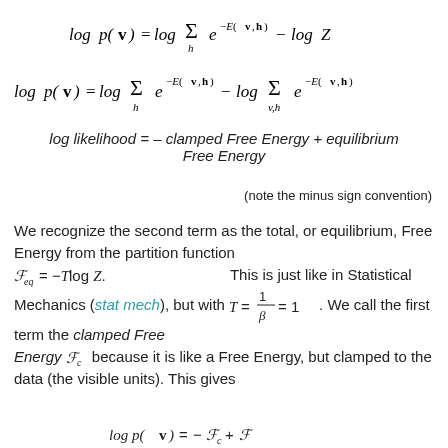log likelihood = – clamped Free Energy + equilibrium Free Energy
(note the minus sign convention)
We recognize the second term as the total, or equilibrium, Free Energy from the partition function F_eq = –Tlog Z. This is just like in Statistical Mechanics (stat mech), but with T = 1/β = 1. We call the first term the clamped Free Energy F_c because it is like a Free Energy, but clamped to the data (the visible units). This gives